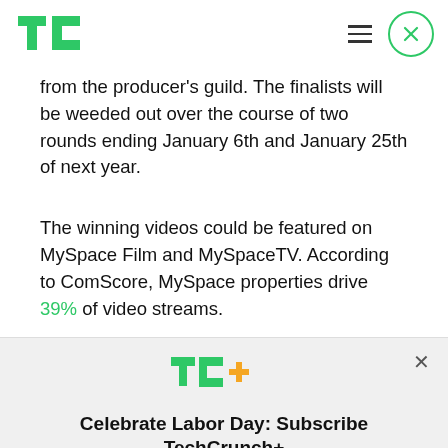TechCrunch logo, hamburger menu, close button
from the producer’s guild. The finalists will be weeded out over the course of two rounds ending January 6th and January 25th of next year.
The winning videos could be featured on MySpace Film and MySpaceTV. According to ComScore, MySpace properties drive 39% of video streams.
[Figure (logo): TC+ logo (TechCrunch Plus green and orange logo)]
Celebrate Labor Day: Subscribe TechCrunch+ Today Only for $90/Year.
GET OFFER NOW